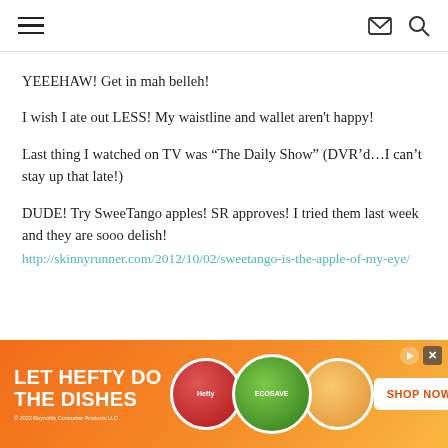navigation header with hamburger menu, mail icon, and search icon
YEEEHAW! Get in mah belleh!
I wish I ate out LESS! My waistline and wallet aren't happy!
Last thing I watched on TV was “The Daily Show” (DVR’d…I can’t stay up that late!)
DUDE! Try SweeTango apples! SR approves! I tried them last week and they are sooo delish!
http://skinnyrunner.com/2012/10/02/sweetango-is-the-apple-of-my-eye/
[Figure (other): Advertisement banner for Hefty brand dishes promotion with orange gradient background, product images, and SHOP NOW button]